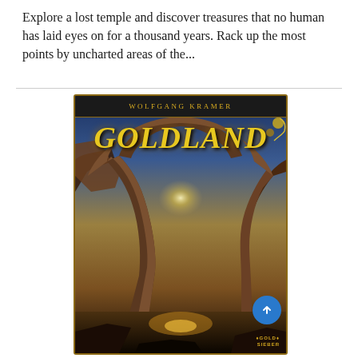Explore a lost temple and discover treasures that no human has laid eyes on for a thousand years. Rack up the most points by uncharted areas of the...
[Figure (illustration): Book cover for 'Goldland' by Wolfgang Kramer (Gold Sieber). Features a dark dramatic image of a stone arch/temple structure against a golden sunset sky, with the title 'GOLDLAND' in large yellow italic letters and the author name in a black header bar at the top. Bottom right shows the Gold Sieber publisher logo.]